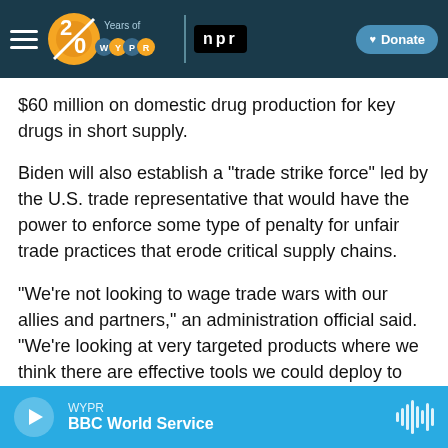WYPR 20 Years of WYPR | npr | Donate
$60 million on domestic drug production for key drugs in short supply.
Biden will also establish a "trade strike force" led by the U.S. trade representative that would have the power to enforce some type of penalty for unfair trade practices that erode critical supply chains.
"We're not looking to wage trade wars with our allies and partners," an administration official said. "We're looking at very targeted products where we think there are effective tools we could deploy to strengthen our own supply chains and reduce
WYPR BBC World Service